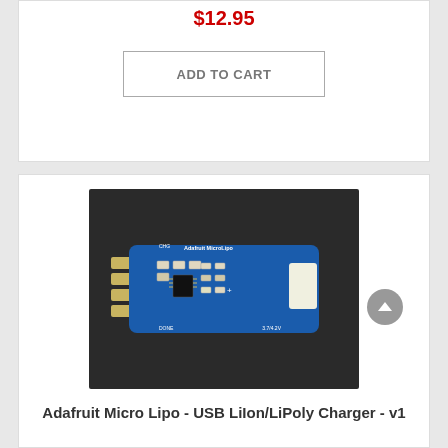$12.95
ADD TO CART
[Figure (photo): Photo of Adafruit Micro Lipo USB LiIon/LiPoly charger circuit board (blue PCB) on dark background]
Adafruit Micro Lipo - USB LiIon/LiPoly Charger - v1
$5.95